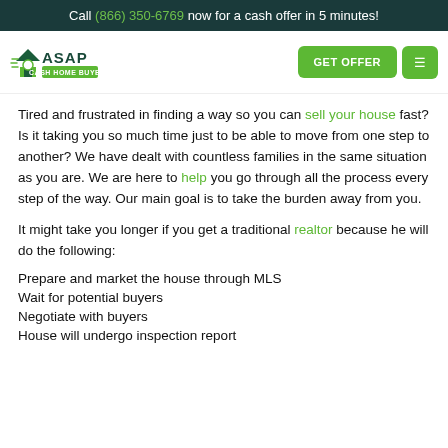Call (866) 350-6769 now for a cash offer in 5 minutes!
[Figure (logo): ASAP Cash Home Buyers logo with green house icon]
Tired and frustrated in finding a way so you can sell your house fast? Is it taking you so much time just to be able to move from one step to another? We have dealt with countless families in the same situation as you are. We are here to help you go through all the process every step of the way. Our main goal is to take the burden away from you.
It might take you longer if you get a traditional realtor because he will do the following:
Prepare and market the house through MLS
Wait for potential buyers
Negotiate with buyers
House will undergo inspection report